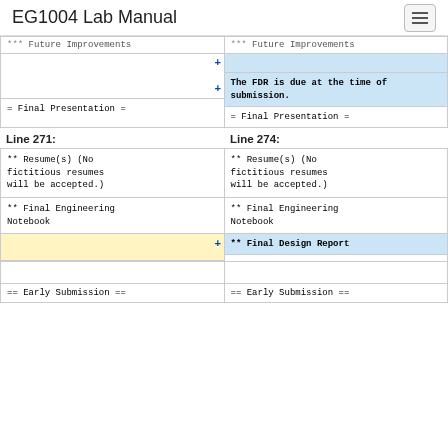EG1004 Lab Manual
** Future Improvements (left column, top)
** Future Improvements (right column, top)
The FDR is due at the time of submission.
= Final Presentation = (left)
= Final Presentation = (right)
Line 271:
Line 274:
** Resume(s) (No fictitious resumes will be accepted.)
** Resume(s) (No fictitious resumes will be accepted.)
** Final Engineering Notebook
** Final Engineering Notebook
** Final Design Report
== Early Submission == (left)
== Early Submission == (right)